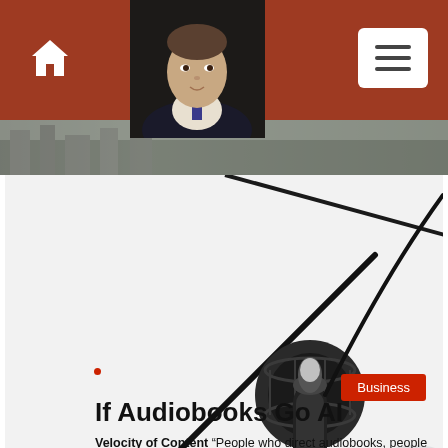Home | Menu
[Figure (photo): Portrait photo of a man in a suit, dark background]
[Figure (photo): Studio condenser microphone on boom arm with robot head in background, white background]
Business
If Audiobooks Go AI
Velocity of Content “People who direct audiobooks, people who edit audiobooks, people who check audiobook narration for word-for-word perfection